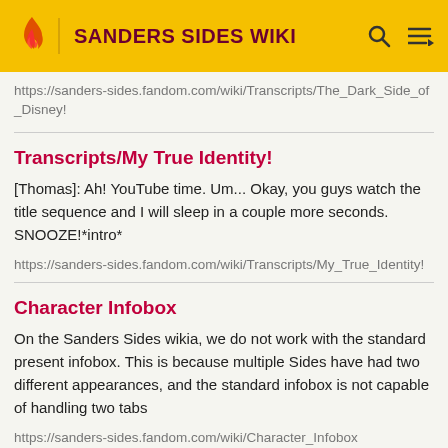SANDERS SIDES WIKI
https://sanders-sides.fandom.com/wiki/Transcripts/The_Dark_Side_of_Disney!
Transcripts/My True Identity!
[Thomas]: Ah! YouTube time. Um... Okay, you guys watch the title sequence and I will sleep in a couple more seconds. SNOOZE!*intro*
https://sanders-sides.fandom.com/wiki/Transcripts/My_True_Identity!
Character Infobox
On the Sanders Sides wikia, we do not work with the standard present infobox. This is because multiple Sides have had two different appearances, and the standard infobox is not capable of handling two tabs
https://sanders-sides.fandom.com/wiki/Character_Infobox